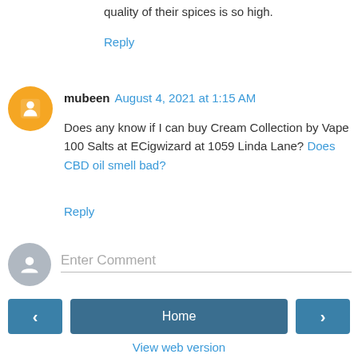quality of their spices is so high.
Reply
mubeen  August 4, 2021 at 1:15 AM
Does any know if I can buy Cream Collection by Vape 100 Salts at ECigwizard at 1059 Linda Lane? Does CBD oil smell bad?
Reply
Enter Comment
Home
View web version
Powered by Blogger.